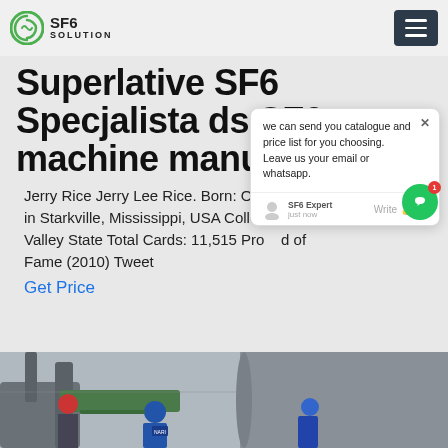SF6 SOLUTION
Superlative SF6 Specjalista ds SF6 machine manual fa...
Jerry Rice Jerry Lee Rice. Born: Oc... 2 in Starkville, Mississippi, USA Colleg... Di... Valley State Total Cards: 11,515 Pro... d of Fame (2010) Tweet
Get Price
[Figure (screenshot): Chat popup overlay: message says 'we can send you catalogue and price list for you choosing. Leave us your email or whatsapp.' with SF6 Expert agent and just now timestamp, write input area with thumbs up and paperclip icons]
[Figure (photo): Workers in hard hats (red and blue) working with large industrial cylindrical equipment outdoors]